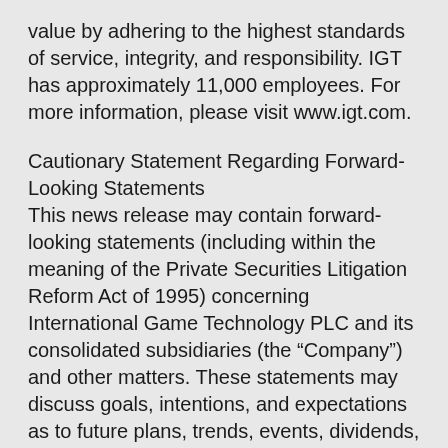value by adhering to the highest standards of service, integrity, and responsibility. IGT has approximately 11,000 employees. For more information, please visit www.igt.com.
Cautionary Statement Regarding Forward-Looking Statements
This news release may contain forward-looking statements (including within the meaning of the Private Securities Litigation Reform Act of 1995) concerning International Game Technology PLC and its consolidated subsidiaries (the “Company”) and other matters. These statements may discuss goals, intentions, and expectations as to future plans, trends, events, dividends, results of operations, or financial condition, or otherwise, based on current beliefs of the management of the Company as well as assumptions made by, and information currently available to, such management. Forward-looking statements may be accompanied by words such as “aim,” “anticipate,”